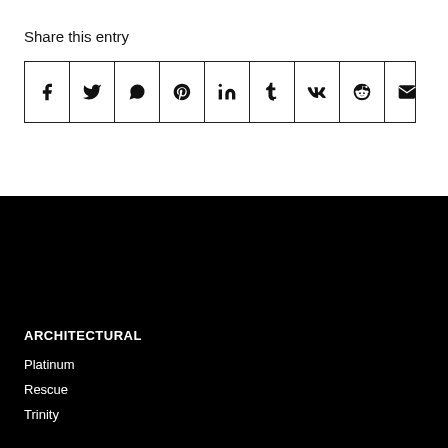Share this entry
[Figure (infographic): Row of 9 social media share icons in bordered cells: Facebook (f), Twitter (bird), WhatsApp, Pinterest (p), LinkedIn (in), Tumblr (t), VK (vk), Reddit (alien face), Email (envelope)]
ARCHITECTURAL
Platinum
Rescue
Trinity